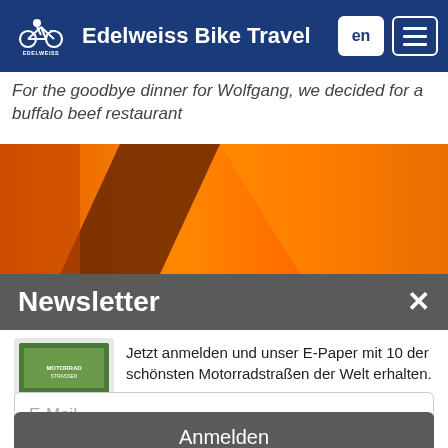Edelweiss Bike Travel
For the goodbye dinner for Wolfgang, we decided for a buffalo beef restaurant
[Figure (photo): Orange and dark brown abstract diagonal shapes, appears to be a close-up of motorcycle or travel equipment]
Newsletter
Jetzt anmelden und unser E-Paper mit 10 der schönsten Motorradstraßen der Welt erhalten.
E-Mail
Anmelden